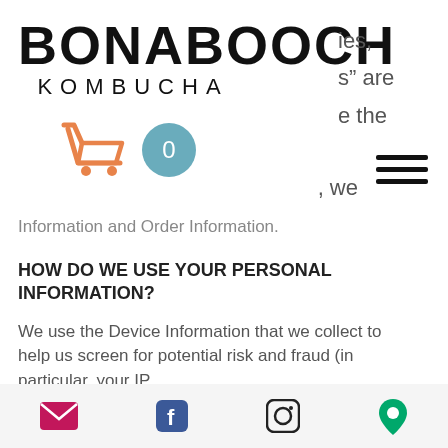[Figure (logo): Bonabooch Kombucha logo with bold black uppercase text and smaller spaced letters for KOMBUCHA subtitle, with an orange shopping cart icon and teal badge showing 0]
ies,
s" are
e the
, we
Information and Order Information.
HOW DO WE USE YOUR PERSONAL INFORMATION?
We use the Device Information that we collect to help us screen for potential risk and fraud (in particular, your IP